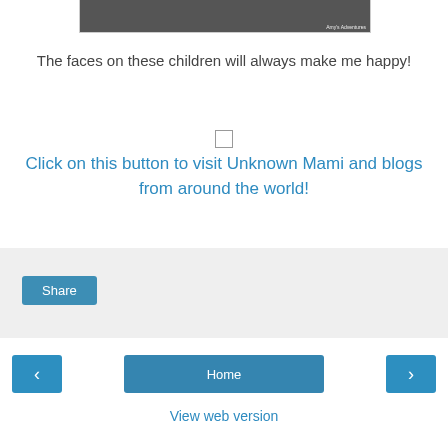[Figure (photo): Partial photo of children at top of page, with watermark text 'Amy's Adventures' in bottom right corner]
The faces on these children will always make me happy!
Click on this button to visit Unknown Mami and blogs from around the world!
Share
Home
View web version